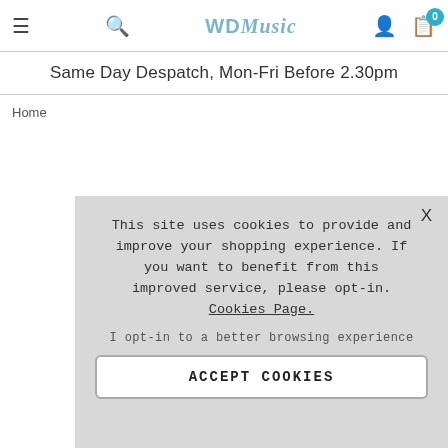≡  🔍  WDMusic  👤  🛒 0
Same Day Despatch, Mon-Fri Before 2.30pm
Home
This site uses cookies to provide and improve your shopping experience. If you want to benefit from this improved service, please opt-in. Cookies Page.

I opt-in to a better browsing experience

ACCEPT COOKIES